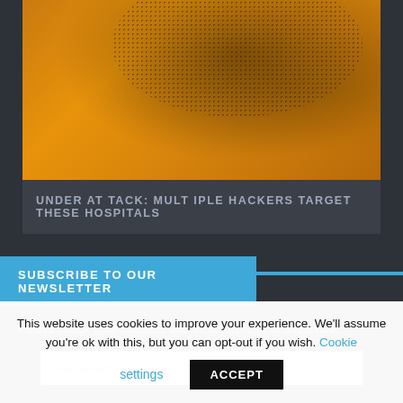[Figure (photo): Fingerprint on orange/amber background - security themed article image]
UNDER ATTACK: MULTIPLE HACKERS TARGET THESE HOSPITALS
SUBSCRIBE TO OUR NEWSLETTER
Please check your interests and fill in this form to subscribe:
Full Name*
This website uses cookies to improve your experience. We'll assume you're ok with this, but you can opt-out if you wish. Cookie settings ACCEPT